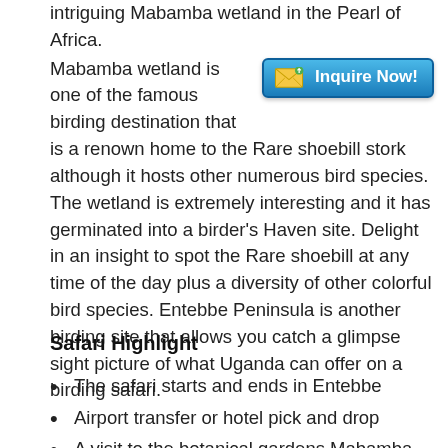intriguing Mabamba wetland in the Pearl of Africa. Mabamba wetland is one of the famous birding destination that is a renown home to the Rare shoebill stork although it hosts other numerous bird species. The wetland is extremely interesting and it has germinated into a birder's Haven site. Delight in an insight to spot the Rare shoebill at any time of the day plus a diversity of other colorful bird species. Entebbe Peninsula is another birding site that allows you catch a glimpse sight picture of what Uganda can offer on a birding safari.
[Figure (other): Inquire Now! button with envelope icon, teal/blue gradient background]
Safari Highlight
The safari starts and ends in Entebbe
Airport transfer or hotel pick and drop
A visit to the botanical gardens Mabamba